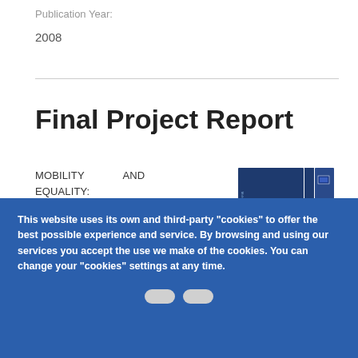Publication Year:
2008
Final Project Report
MOBILITY AND EQUALITY: ENTREPRENEURIAL PARTICIPATION TOWARDS AN EUROPEAN LABOUR MARKET
[Figure (photo): Cover image of the publication showing a dark navy blue booklet cover with 'euroMoBility' text and logo, alongside a spine and back cover]
Publication Year:
This website uses its own and third-party “cookies” to offer the best possible experience and service. By browsing and using our services you accept the use we make of the cookies. You can change your “cookies” settings at any time.